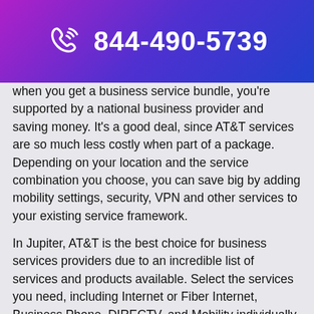844-490-5739
when you get a business service bundle, you're supported by a national business provider and saving money. It's a good deal, since AT&T services are so much less costly when part of a package. Depending on your location and the service combination you choose, you can save big by adding mobility settings, security, VPN and other services to your existing service framework.
In Jupiter, AT&T is the best choice for business services providers due to an incredible list of services and products available. Select the services you need, including Internet or Fiber Internet, Business Phone, DIRECTV, and Mobility individually or create a custom bundle.
It's not just that you get exceptional products, you get matching support too. With AT&T products in Jupiter, you get the support you need to get everything you want out of marketing, IT, and security. Then link your